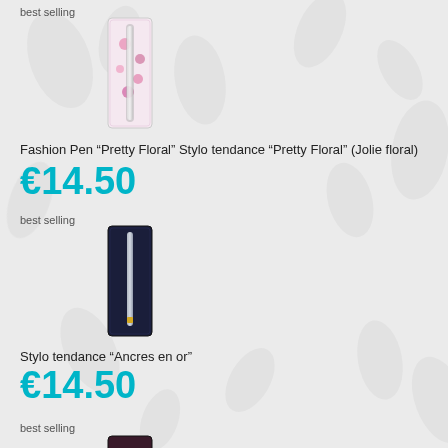best selling
[Figure (photo): Fashion Pen Pretty Floral in decorative box packaging]
Fashion Pen “Pretty Floral” Stylo tendance “Pretty Floral” (Jolie floral)
€14.50
best selling
[Figure (photo): Fashion pen in dark navy box packaging]
Stylo tendance “Ancres en or”
€14.50
best selling